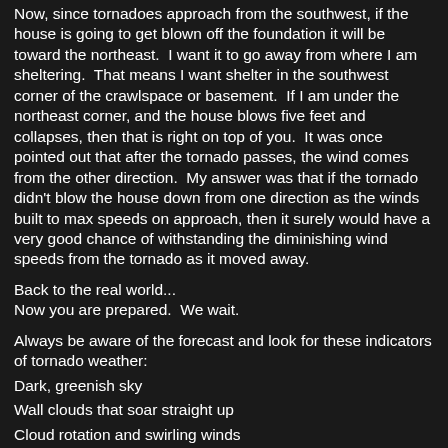Now, since tornadoes approach from the southwest, if the house is going to get blown off the foundation it will be toward the northeast.  I want it to go away from where I am sheltering.  That means I want shelter in the southwest corner of the crawlspace or basement.  If I am under the northeast corner, and the house blows five feet and collapses, then that is right on top of you.  It was once pointed out that after the tornado passes, the wind comes from the other direction.  My answer was that if the tornado didn't blow the house down from one direction as the winds built to max speeds on approach, then it surely would have a very good chance of withstanding the diminishing wind speeds from the tornado as it moved away.
Back to the real world...
Now you are prepared.  We wait.
Always be aware of the forecast and look for these indicators of tornado weather:
Dark, greenish sky
Wall clouds that soar straight up
Cloud rotation and swirling winds